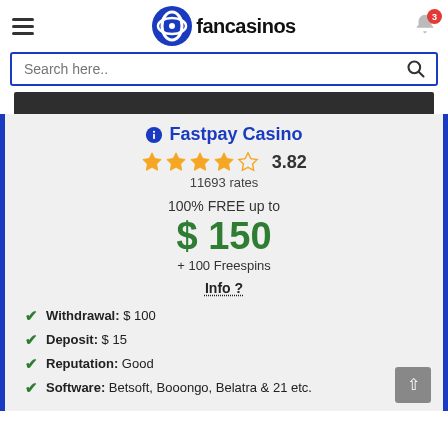fancasinos
Search here..
Fastpay Casino
3.82 — 11693 rates
100% FREE up to $ 150 + 100 Freespins
Info
Withdrawal: $ 100
Deposit: $ 15
Reputation: Good
Software: Betsoft, Booongo, Belatra & 21 etc.